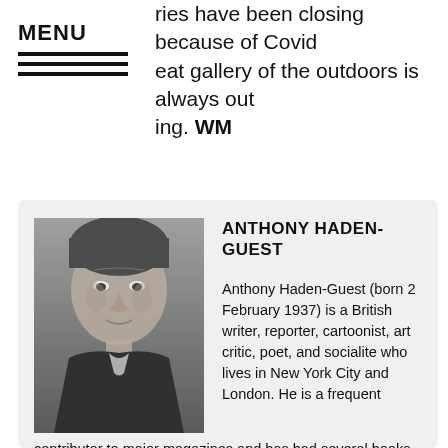ries have been closing because of Covid •at gallery of the outdoors is always out •ing. WM
[Figure (photo): Black and white portrait photo of Anthony Haden-Guest, an older man in a dark jacket]
ANTHONY HADEN-GUEST
Anthony Haden-Guest (born 2 February 1937) is a British writer, reporter, cartoonist, art critic, poet, and socialite who lives in New York City and London. He is a frequent contributor to major magazines and has had several books published including TRUE COLORS: The Real Life of the Art